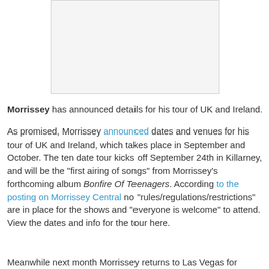[Figure (photo): Blank/white image placeholder area]
Morrissey has announced details for his tour of UK and Ireland.
As promised, Morrissey announced dates and venues for his tour of UK and Ireland, which takes place in September and October. The ten date tour kicks off September 24th in Killarney, and will be the "first airing of songs" from Morrissey's forthcoming album Bonfire Of Teenagers. According to the posting on Morrissey Central no "rules/regulations/restrictions" are in place for the shows and "everyone is welcome" to attend. View the dates and info for the tour here.
Meanwhile next month Morrissey returns to Las Vegas for